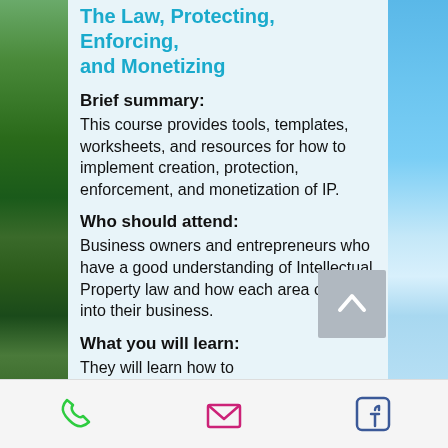The Law, Protecting, Enforcing, and Monetizing
Brief summary:
This course provides tools, templates, worksheets, and resources for how to implement creation, protection, enforcement, and monetization of IP.
Who should attend:
Business owners and entrepreneurs who have a good understanding of Intellectual Property law and how each area of IP fits into their business.
What you will learn:
They will learn how to